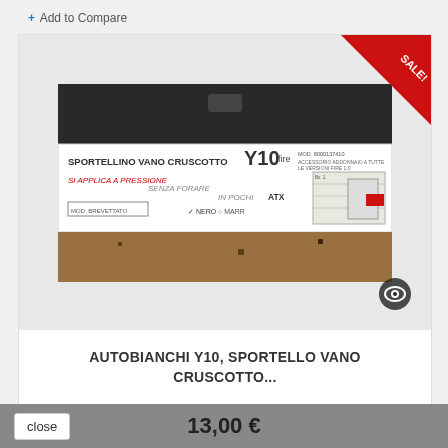+ Add to Compare
[Figure (photo): Product photo of Autobianchi Y10 dashboard compartment door (Sportellino Vano Cruscotto), showing a dark plastic panel and its product packaging box with label text. A red SALE! banner is in the top-right corner of the product card.]
AUTOBIANCHI Y10, SPORTELLO VANO CRUSCOTTO...
13,00 €